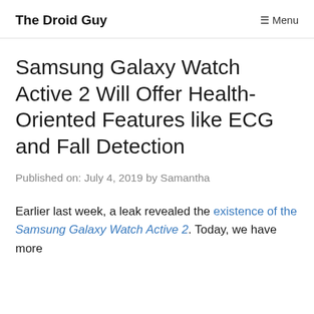The Droid Guy   ☰ Menu
Samsung Galaxy Watch Active 2 Will Offer Health-Oriented Features like ECG and Fall Detection
Published on: July 4, 2019 by Samantha
Earlier last week, a leak revealed the existence of the Samsung Galaxy Watch Active 2. Today, we have more